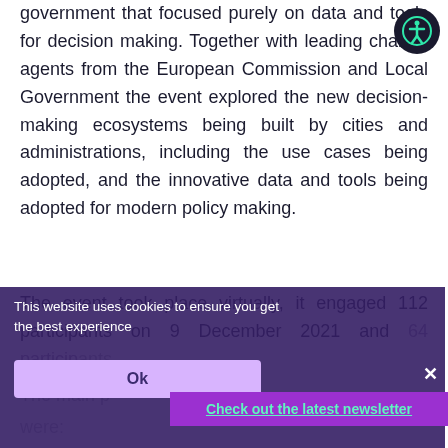government that focused purely on data and tools for decision making. Together with leading change agents from the European Commission and Local Government the event explored the new decision-making ecosystems being built by cities and administrations, including the use cases being adopted, and the innovative data and tools being adopted for modern policy making.
The event took place virtually, it engaged 112 participants on 9 December 2021 and 64 participants...
The main p... were:
This website uses cookies to ensure you get the best experience
Ok
Check out the latest newsletter
×